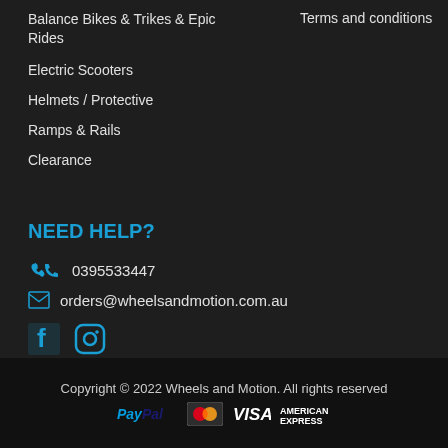Balance Bikes & Trikes & Epic Rides
Terms and conditions
Electric Scooters
Helmets / Protective
Ramps & Rails
Clearance
NEED HELP?
0395533447
orders@wheelsandmotion.com.au
[Figure (other): Facebook and Instagram social media icons]
Copyright © 2022 Wheels and Motion. All rights reserved
[Figure (other): Payment icons: PayPal, MasterCard, VISA, American Express]